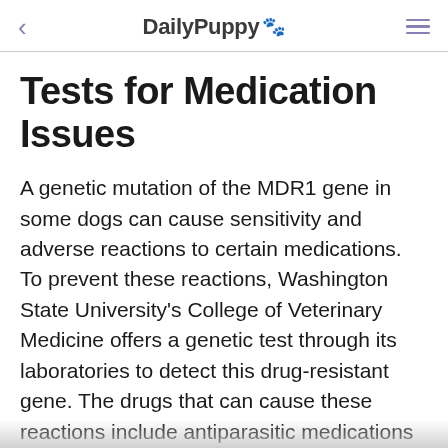DailPuppy 🐾
Tests for Medication Issues
A genetic mutation of the MDR1 gene in some dogs can cause sensitivity and adverse reactions to certain medications. To prevent these reactions, Washington State University's College of Veterinary Medicine offers a genetic test through its laboratories to detect this drug-resistant gene. The drugs that can cause these reactions include antiparasitic medications